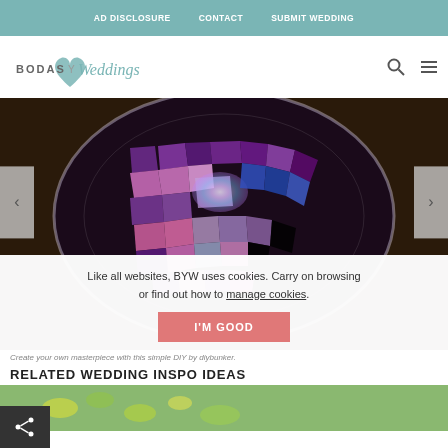AD DISCLOSURE   CONTACT   SUBMIT WEDDING
[Figure (logo): Bodas y Weddings logo with teal heart icon]
[Figure (photo): Mosaic plate made from colorful broken tile pieces in purple, pink, blue and iridescent colors arranged in an oval plate shape on a wooden surface. DIY craft project by diybunker.]
Like all websites, BYW uses cookies. Carry on browsing or find out how to manage cookies.
Create your own masterpiece with this simple DIY by diybunker.
RELATED WEDDING INSPO IDEAS
[Figure (photo): Partial thumbnail of a related wedding photo showing green foliage/lemons]